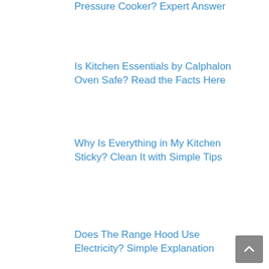Pressure Cooker? Expert Answer
Is Kitchen Essentials by Calphalon Oven Safe? Read the Facts Here
Why Is Everything in My Kitchen Sticky? Clean It with Simple Tips
Does The Range Hood Use Electricity? Simple Explanation